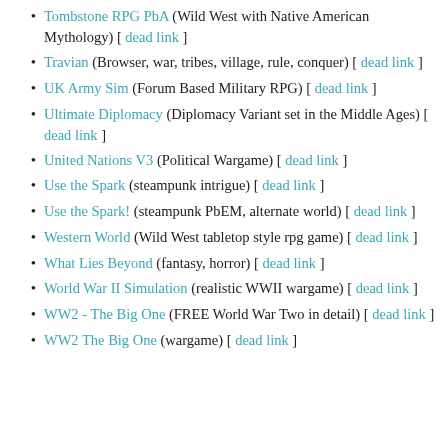Tombstone RPG PbA (Wild West with Native American Mythology) [ dead link ]
Travian (Browser, war, tribes, village, rule, conquer) [ dead link ]
UK Army Sim (Forum Based Military RPG) [ dead link ]
Ultimate Diplomacy (Diplomacy Variant set in the Middle Ages) [ dead link ]
United Nations V3 (Political Wargame) [ dead link ]
Use the Spark (steampunk intrigue) [ dead link ]
Use the Spark! (steampunk PbEM, alternate world) [ dead link ]
Western World (Wild West tabletop style rpg game) [ dead link ]
What Lies Beyond (fantasy, horror) [ dead link ]
World War II Simulation (realistic WWII wargame) [ dead link ]
WW2 - The Big One (FREE World War Two in detail) [ dead link ]
WW2 The Big One (wargame) [ dead link ]